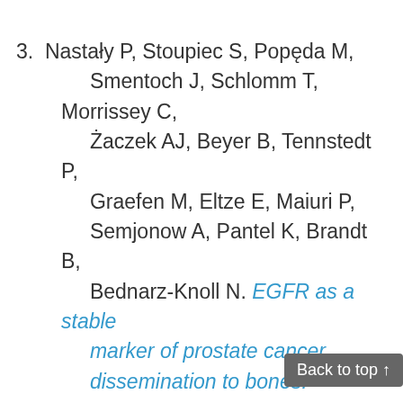3. Nastały P, Stoupiec S, Popęda M, Smentoch J, Schlomm T, Morrissey C, Żaczek AJ, Beyer B, Tennstedt P, Graefen M, Eltze E, Maiuri P, Semjonow A, Pantel K, Brandt B, Bednarz-Knoll N. EGFR as a stable marker of prostate cancer dissemination to bones. Br J Cancer. 2020 Dec;123(12):1767-1774. doi: 10.1038/s41416-020-01052-8. Epub 2020 Sep 9.